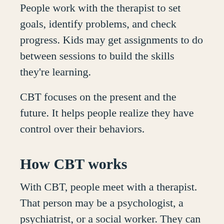People work with the therapist to set goals, identify problems, and check progress. Kids may get assignments to do between sessions to build the skills they're learning.
CBT focuses on the present and the future. It helps people realize they have control over their behaviors.
How CBT works
With CBT, people meet with a therapist. That person may be a psychologist, a psychiatrist, or a social worker. They can meet individually, in a group, or with family members.
With children, the...